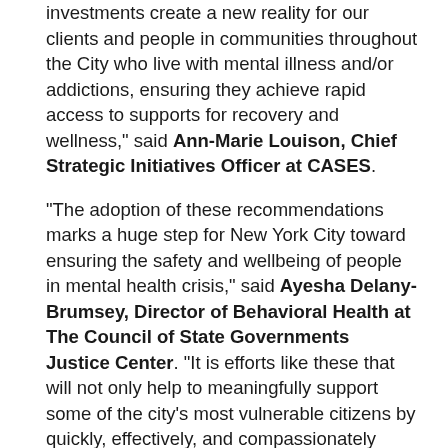investments create a new reality for our clients and people in communities throughout the City who live with mental illness and/or addictions, ensuring they achieve rapid access to supports for recovery and wellness," said Ann-Marie Louison, Chief Strategic Initiatives Officer at CASES.
"The adoption of these recommendations marks a huge step for New York City toward ensuring the safety and wellbeing of people in mental health crisis," said Ayesha Delany-Brumsey, Director of Behavioral Health at The Council of State Governments Justice Center. "It is efforts like these that will not only help to meaningfully support some of the city's most vulnerable citizens by quickly, effectively, and compassionately responding to people in crisis, but also serve as an example to other communities working to make the same progress."
David Rivel, CEO of the Jewish Board of Family and Children's Services, said, "The City should be commended for investing resources to facilitate...